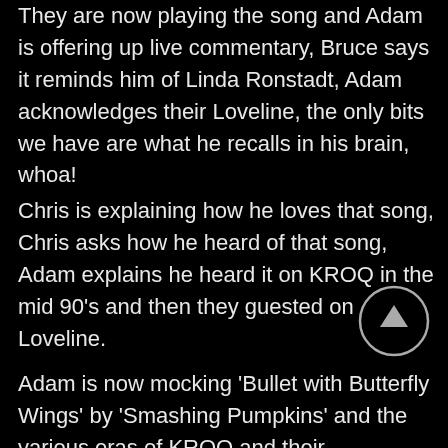They are now playing the song and Adam is offering up live commentary, Bruce says it reminds him of Linda Ronstadt, Adam acknowledges their Loveline, the only bits we have are what he recalls in his brain, whoa!
Chris is explaining how he loves that song, Chris asks how he heard of that song, Adam explains he heard it on KROQ in the mid 90's and then they guested on Loveline.
Adam is now mocking 'Bullet with Butterfly Wings' by 'Smashing Pumpkins' and the various eras of KROQ and their programming.